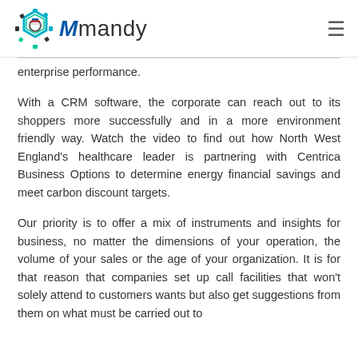Mmandy
enterprise performance.
With a CRM software, the corporate can reach out to its shoppers more successfully and in a more environment friendly way. Watch the video to find out how North West England's healthcare leader is partnering with Centrica Business Options to determine energy financial savings and meet carbon discount targets.
Our priority is to offer a mix of instruments and insights for business, no matter the dimensions of your operation, the volume of your sales or the age of your organization. It is for that reason that companies set up call facilities that won't solely attend to customers wants but also get suggestions from them on what must be carried out to